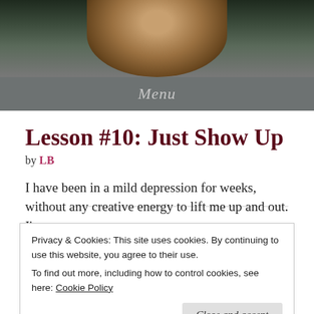[Figure (photo): Close-up photo of an older man smiling, with dark green background]
Menu
Lesson #10: Just Show Up
by LB
I have been in a mild depression for weeks, without any creative energy to lift me up and out. I'm no
Privacy & Cookies: This site uses cookies. By continuing to use this website, you agree to their use.
To find out more, including how to control cookies, see here: Cookie Policy
Close and accept
down and out, except the people I trust to love and